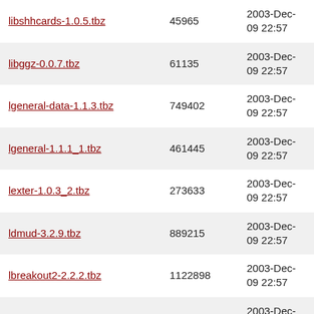| Name | Size | Date |
| --- | --- | --- |
| libshhcards-1.0.5.tbz | 45965 | 2003-Dec-09 22:57 |
| libggz-0.0.7.tbz | 61135 | 2003-Dec-09 22:57 |
| lgeneral-data-1.1.3.tbz | 749402 | 2003-Dec-09 22:57 |
| lgeneral-1.1.1_1.tbz | 461445 | 2003-Dec-09 22:57 |
| lexter-1.0.3_2.tbz | 273633 | 2003-Dec-09 22:57 |
| ldmud-3.2.9.tbz | 889215 | 2003-Dec-09 22:57 |
| lbreakout2-2.2.2.tbz | 1122898 | 2003-Dec-09 22:57 |
| lbreakout-010315.tbz | 594517 | 2003-Dec-09 22:57 |
| kxl-1.1.5.tbz | 21919 | 2003-Dec-09 22:57 |
| kwappen-1.1.4.tbz | 369782 | 2003-Dec-10 02:52 |
| ktritoc-1.0.tbz | 399466 | 2003-Dec-10 07:08 |